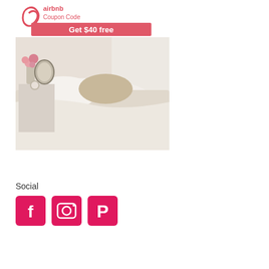[Figure (illustration): Airbnb coupon code advertisement showing 'Get $40 free' in a salmon/coral rectangle, with Airbnb logo at top, and a bedroom scene below showing a made bed with white and beige linens, pink flowers, oval mirror, and clock on nightstand.]
Social
[Figure (logo): Three social media icon buttons in hot pink/crimson rounded squares: Facebook (f), Instagram (camera), Pinterest (P)]